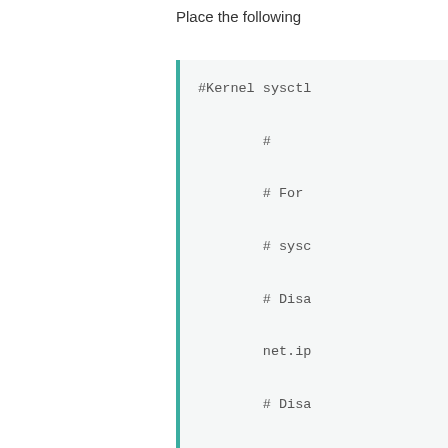Place the following
#Kernel sysctl

        #

        # For

        # sysc

        # Disa

        net.ip

        # Disa

        net.ip

        net.ip

        net.ip